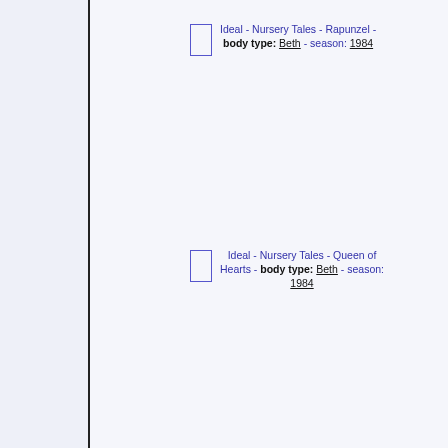Ideal - Nursery Tales - Rapunzel - body type: Beth - season: 1984
Ideal - Nursery Tales - Queen of Hearts - body type: Beth - season: 1984